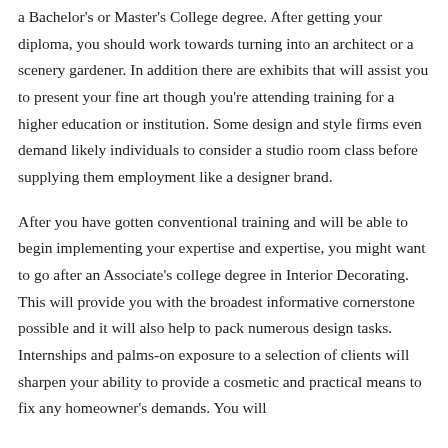a Bachelor's or Master's College degree. After getting your diploma, you should work towards turning into an architect or a scenery gardener. In addition there are exhibits that will assist you to present your fine art though you're attending training for a higher education or institution. Some design and style firms even demand likely individuals to consider a studio room class before supplying them employment like a designer brand.
After you have gotten conventional training and will be able to begin implementing your expertise and expertise, you might want to go after an Associate's college degree in Interior Decorating. This will provide you with the broadest informative cornerstone possible and it will also help to pack numerous design tasks. Internships and palms-on exposure to a selection of clients will sharpen your ability to provide a cosmetic and practical means to fix any homeowner's demands. You will